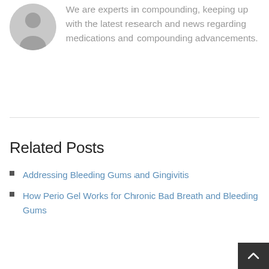[Figure (illustration): Gray circular avatar placeholder with silhouette of a person]
We are experts in compounding, keeping up with the latest research and news regarding medications and compounding advancements.
Related Posts
Addressing Bleeding Gums and Gingivitis
How Perio Gel Works for Chronic Bad Breath and Bleeding Gums